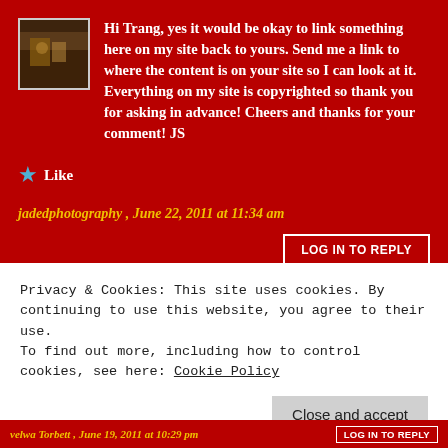[Figure (photo): Small square avatar photo showing a dimly lit indoor scene with warm tones]
Hi Trang, yes it would be okay to link something here on my site back to yours. Send me a link to where the content is on your site so I can look at it. Everything on my site is copyrighted so thank you for asking in advance! Cheers and thanks for your comment! JS
★ Like
jadedphotography , June 22, 2011 at 11:34 am
LOG IN TO REPLY
Privacy & Cookies: This site uses cookies. By continuing to use this website, you agree to their use.
To find out more, including how to control cookies, see here: Cookie Policy
Close and accept
velwa Torbett , June 19, 2011 at 10:29 pm
LOG IN TO REPLY